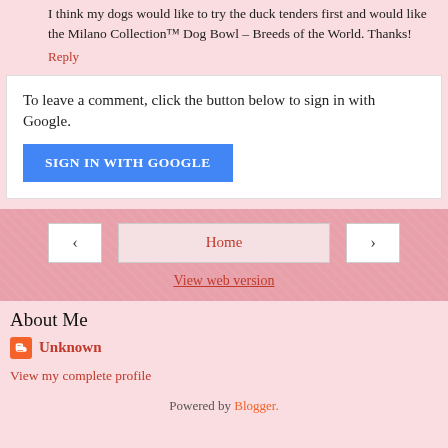I think my dogs would like to try the duck tenders first and would like the Milano Collection™ Dog Bowl – Breeds of the World. Thanks!
Reply
To leave a comment, click the button below to sign in with Google.
SIGN IN WITH GOOGLE
‹
Home
›
View web version
About Me
Unknown
View my complete profile
Powered by Blogger.